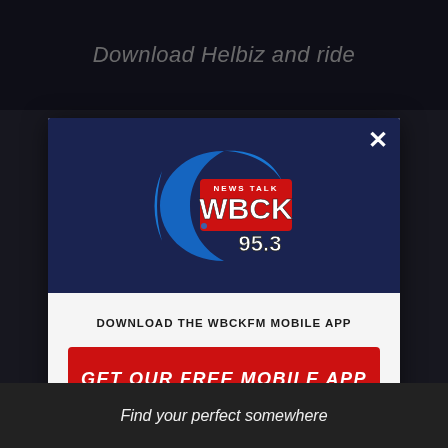[Figure (screenshot): Website screenshot background with dark overlay and top advertisement area showing 'Download Helbiz and ride']
[Figure (logo): WBCK News Talk 95.3 radio station logo — red and blue with crescent moon shape]
DOWNLOAD THE WBCKFM MOBILE APP
GET OUR FREE MOBILE APP
Also listen on:  amazon alexa
[Figure (screenshot): Bottom advertisement banner reading 'Find your perfect somewhere']